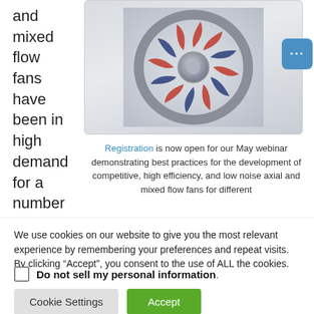and mixed flow fans have been in high demand for a number of
[Figure (photo): 3D rendered image of an axial/mixed flow fan with blue and orange/red blades on a grey gradient background]
Registration is now open for our May webinar demonstrating best practices for the development of competitive, high efficiency, and low noise axial and mixed flow fans for different
We use cookies on our website to give you the most relevant experience by remembering your preferences and repeat visits. By clicking “Accept”, you consent to the use of ALL the cookies.
Do not sell my personal information.